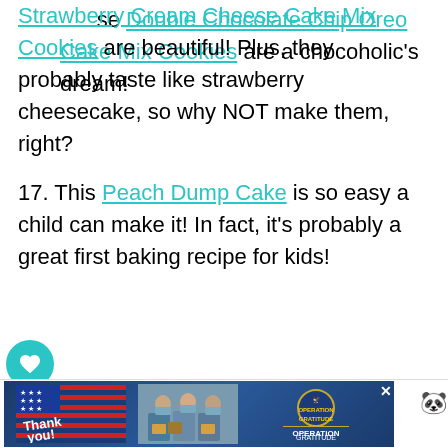16. These Strawberry Cream Cheese Cake Mix Cookies are beautiful! Plus, they probably taste like strawberry cheesecake, so why NOT make them, right?
17. This Peach Dump Cake is so easy a child can make it! In fact, it's probably a great first baking recipe for kids!
18. When all else fails, add more chocolate! These Double Chocolate Chip Oreo Cake Mix Cookies are a chocoholic's dream!
19. You can't get much simpler than a two-ingredient recipe. These 2 Ingredient Pumpkin Muffins...
[Figure (infographic): Advertisement banner for Operation Gratitude showing a thank you graphic with American flag and photo of people in masks holding packages]